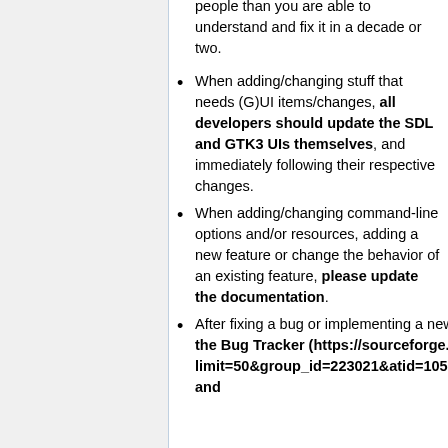people than you are able to understand and fix it in a decade or two.
When adding/changing stuff that needs (G)UI items/changes, all developers should update the SDL and GTK3 UIs themselves, and immediately following their respective changes.
When adding/changing command-line options and/or resources, adding a new feature or change the behavior of an existing feature, please update the documentation.
After fixing a bug or implementing a new feature, update its status on the Bug Tracker (https://sourceforge.net/tracker/?limit=50&group_id=223021&atid=1057617&status=1&submit=Filter) and